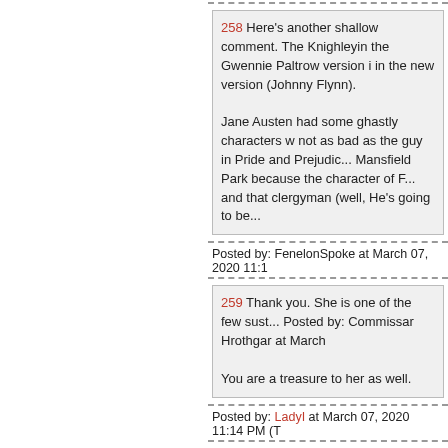258 Here's another shallow comment. The Knighleyin the Gwennie Paltrow version is better than in the new version (Johnny Flynn).

Jane Austen had some ghastly characters w... not as bad as the guy in Pride and Prejudic... Mansfield Park because the character of F... and that clergyman (well, He's going to be...
Posted by: FenelonSpoke at March 07, 2020 11:1
259 Thank you. She is one of the few sust... Posted by: Commissar Hrothgar at March ...

You are a treasure to her as well.
Posted by: LadyI at March 07, 2020 11:14 PM (T
260 256: aw man, you fell for that shit? w
Posted by: chavez the hugo at March 07, 2020 11